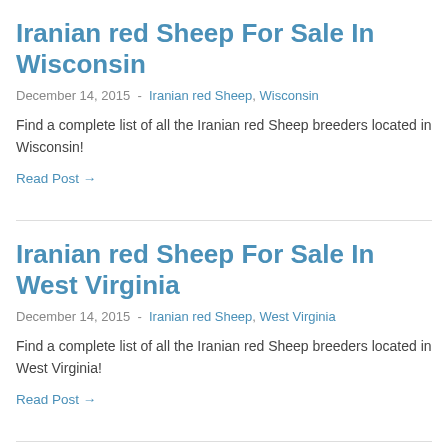Iranian red Sheep For Sale In Wisconsin
December 14, 2015  -  Iranian red Sheep, Wisconsin
Find a complete list of all the Iranian red Sheep breeders located in Wisconsin!
Read Post →
Iranian red Sheep For Sale In West Virginia
December 14, 2015  -  Iranian red Sheep, West Virginia
Find a complete list of all the Iranian red Sheep breeders located in West Virginia!
Read Post →
Iranian red Sheep For Sale